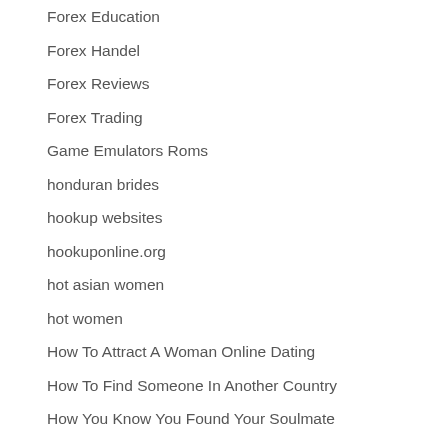Forex Education
Forex Handel
Forex Reviews
Forex Trading
Game Emulators Roms
honduran brides
hookup websites
hookuponline.org
hot asian women
hot women
How To Attract A Woman Online Dating
How To Find Someone In Another Country
How You Know You Found Your Soulmate